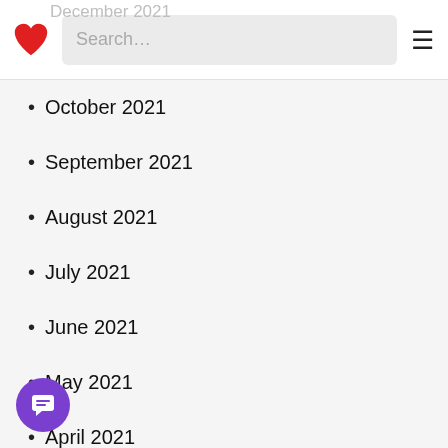Search…
October 2021
September 2021
August 2021
July 2021
June 2021
May 2021
April 2021
March 2021
February 2021
January 2021
December 2020
November 2020
October 2020
September 2020
August 2020